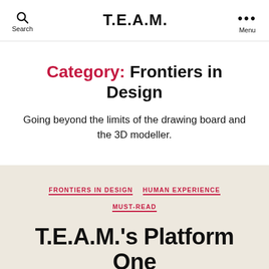T.E.A.M.
Category: Frontiers in Design
Going beyond the limits of the drawing board and the 3D modeller.
FRONTIERS IN DESIGN  HUMAN EXPERIENCE  MUST-READ
T.E.A.M.'s Platform One was presented at CISBAT in Lausanne